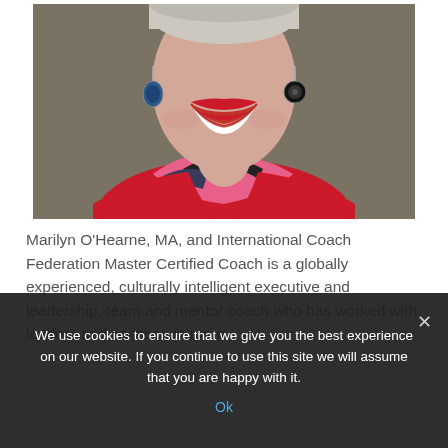[Figure (photo): Professional headshot of Marilyn O'Hearne, a woman smiling broadly with red lipstick, wearing a red outfit with a pink and black patterned scarf, and earrings — one blue oval drop earring on left, one black ornate earring on right. Background is a warm taupe/gray.]
Marilyn O'Hearne, MA, and International Coach Federation Master Certified Coach is a globally experienced, culturally intelligent executive and leadership, team and mentor coach who has worked with leaders and coaches in more
We use cookies to ensure that we give you the best experience on our website. If you continue to use this site we will assume that you are happy with it.
Ok